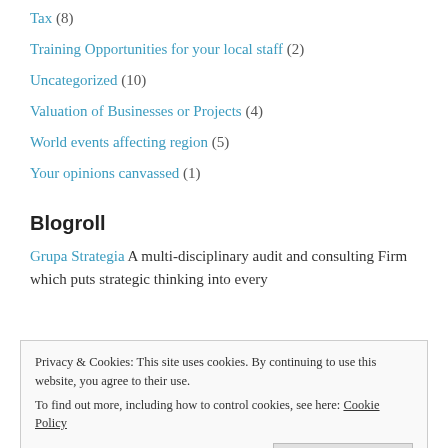Tax (8)
Training Opportunities for your local staff (2)
Uncategorized (10)
Valuation of Businesses or Projects (4)
World events affecting region (5)
Your opinions canvassed (1)
Blogroll
Grupa Strategia A multi-disciplinary audit and consulting Firm which puts strategic thinking into every
Privacy & Cookies: This site uses cookies. By continuing to use this website, you agree to their use. To find out more, including how to control cookies, see here: Cookie Policy
Close and accept
Scripture in over 1,500 languages, including audio in many cases Ideal for polyglots as well as street